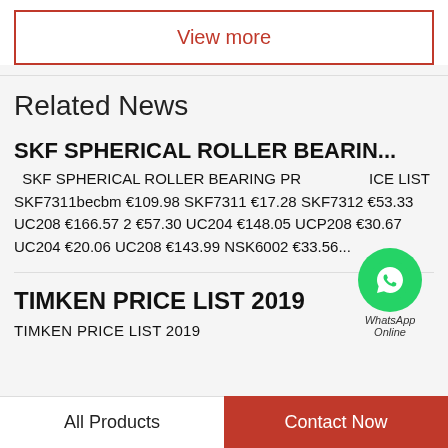View more
Related News
SKF SPHERICAL ROLLER BEARIN...
SKF SPHERICAL ROLLER BEARING PRICE LIST SKF7311becbm €109.98 SKF7311 €17.28 SKF7312 €53.33 UC208 €166.57 2 €57.30 UC204 €148.05 UCP208 €30.67 UC204 €20.06 UC208 €143.99 NSK6002 €33.56...
TIMKEN PRICE LIST 2019
TIMKEN PRICE LIST 2019
All Products    Contact Now